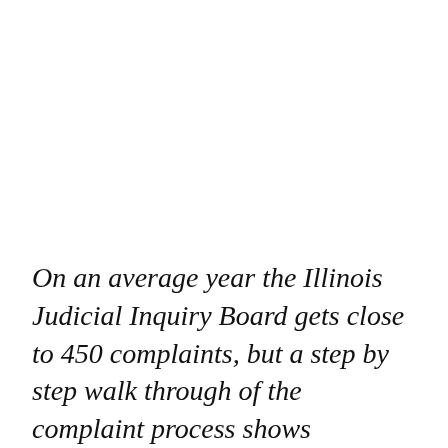On an average year the Illinois Judicial Inquiry Board gets close to 450 complaints, but a step by step walk through of the complaint process shows